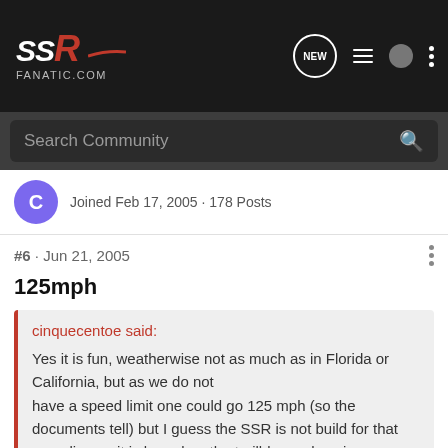[Figure (logo): SSR Fanatic.com logo in white and red on dark background navigation bar with icons]
Search Community
Joined Feb 17, 2005 · 178 Posts
#6 · Jun 21, 2005
125mph
cinquecentoe said:
Yes it is fun, weatherwise not as much as in Florida or California, but as we do not have a speed limit one could go 125 mph (so the documents tell) but I guess the SSR is not build for that speeding as it is based on the trailblazer chassis.
In addition to that the gas prices are even higher these days with the
Click to expand...